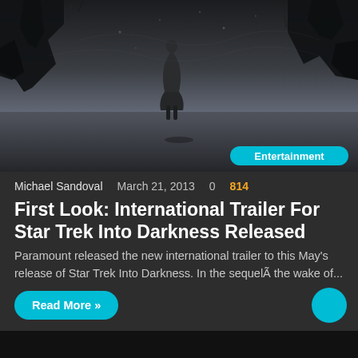[Figure (photo): Dark sci-fi movie poster image for Star Trek Into Darkness showing a lone figure standing amid destroyed buildings and debris under a stormy sky, black and white/dark blue tones]
Entertainment
Michael Sandoval   March 21, 2013   0   814
First Look: International Trailer For Star Trek Into Darkness Released
Paramount released the new international trailer to this May's release of Star Trek Into Darkness. In the sequelÃ the wake of...
Read More »